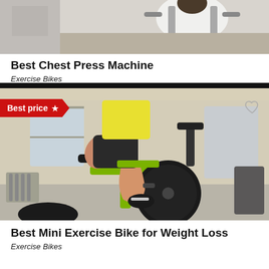[Figure (photo): Partial view of a person using gym equipment (chest press machine), cropped at top]
Best Chest Press Machine
Exercise Bikes
[Figure (photo): Woman riding a bright green/yellow exercise spin bike in a gym, with a 'Best price ★' red banner overlay and a heart icon in the top right]
Best Mini Exercise Bike for Weight Loss
Exercise Bikes